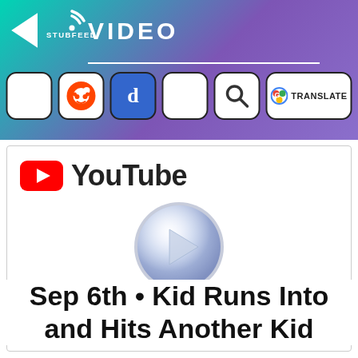VIDEO — StubFeed
[Figure (screenshot): YouTube video embed placeholder with YouTube logo (red rectangle with white play triangle) and a large circular glossy play button in the center of the video area]
Sep 6th • Kid Runs Into and Hits Another Kid